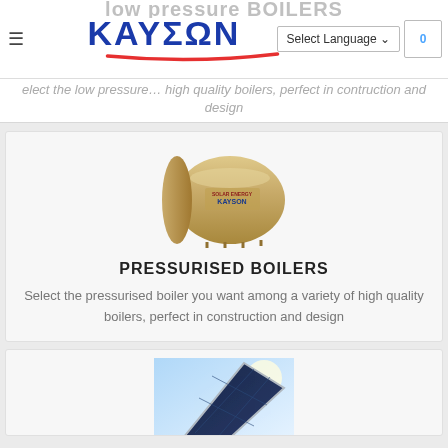KAYΣΩΝ — Select Language — 0
Select the low pressure... high quality boilers, perfect in contruction and design
[Figure (photo): Horizontal cylindrical pressurised boiler / water heater, beige/cream color with KAYSON branding label]
PRESSURISED BOILERS
Select the pressurised boiler you want among a variety of high quality boilers, perfect in construction and design
[Figure (photo): Flat solar panel collector shown at an angle against a bright sky background, dark panel surface with reflective frame]